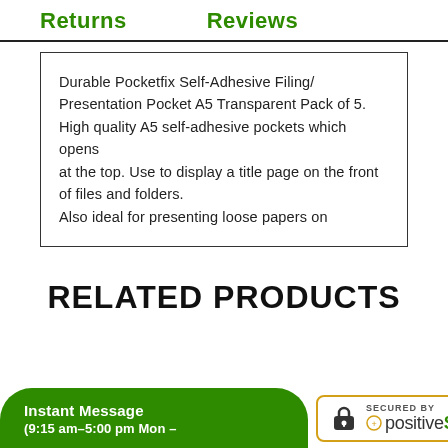Returns    Reviews
Durable Pocketfix Self-Adhesive Filing/Presentation Pocket A5 Transparent Pack of 5. High quality A5 self-adhesive pockets which opens at the top. Use to display a title page on the front of files and folders.
Also ideal for presenting loose papers on
RELATED PRODUCTS
Instant Message
(9:15 am–5:00 pm Mon –
[Figure (logo): PositiveSSL secured badge with padlock icon, gold border, text 'SECURED BY positiveSSL']